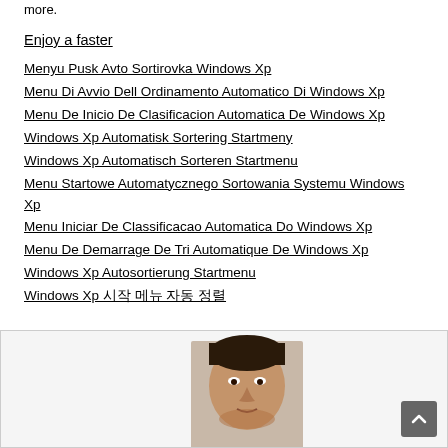more.
Enjoy a faster
Menyu Pusk Avto Sortirovka Windows Xp
Menu Di Avvio Dell Ordinamento Automatico Di Windows Xp
Menu De Inicio De Clasificacion Automatica De Windows Xp
Windows Xp Automatisk Sortering Startmeny
Windows Xp Automatisch Sorteren Startmenu
Menu Startowe Automatycznego Sortowania Systemu Windows Xp
Menu Iniciar De Classificacao Automatica Do Windows Xp
Menu De Demarrage De Tri Automatique De Windows Xp
Windows Xp Autosortierung Startmenu
Windows Xp 시작 메뉴 자동 정렬
[Figure (photo): A person's face/headshot photograph inside a bordered box section at the bottom of the page]